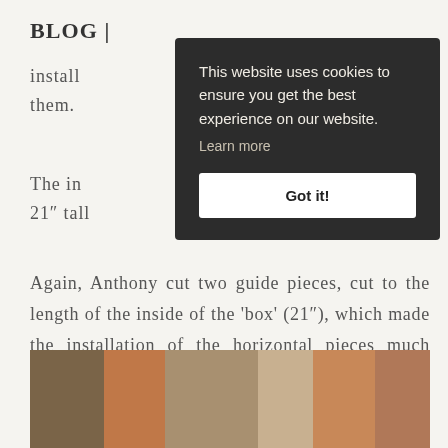BLOG
install them.
The in 21" tall
This website uses cookies to ensure you get the best experience on our website. Learn more
Got it!
Again, Anthony cut two guide pieces, cut to the length of the inside of the ‘box’ (21″), which made the installation of the horizontal pieces much easier...
[Figure (photo): A strip of wood grain samples showing different shades of brown and tan wood stains]